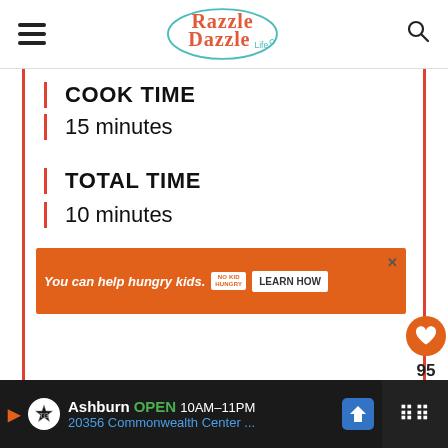Razzle Dazzle Life
COOK TIME
15 minutes
TOTAL TIME
10 minutes
[Figure (other): Advertisement banner: orange background with text 'You can help hungry kids.' No Kid Hungry logo and 'LEARN HOW' button]
[Figure (other): Side action buttons: heart/save button with count 95 and share button]
[Figure (other): What's Next panel: Lemon Pepper Honey... with thumbnail]
Ashburn OPEN 10AM-11PM 20356 Commonwealth Center ...